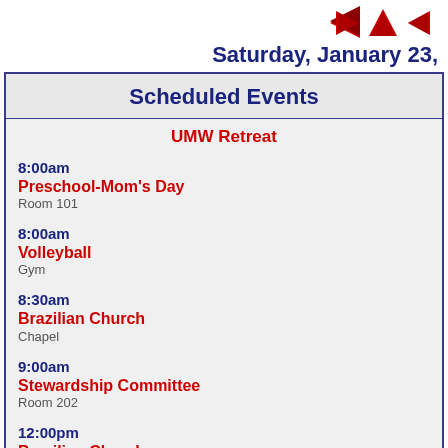[Figure (other): Three navigation arrow icons (left red arrow, up red arrow, right red arrow) in top right area]
Saturday, January 23,
Scheduled Events
UMW Retreat
8:00am
Preschool-Mom's Day
Room 101
8:00am
Volleyball
Gym
8:30am
Brazilian Church
Chapel
9:00am
Stewardship Committee
Room 202
12:00pm
Brazilian Church
Chapel Hall